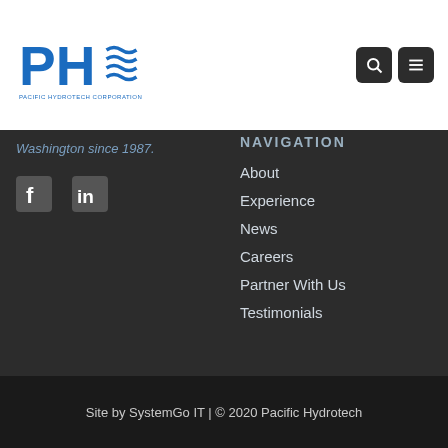[Figure (logo): Pacific Hydrotech Corporation logo with PH letters and wave graphic in blue]
Washington since 1987.
[Figure (other): Social media icons: Facebook and LinkedIn]
NAVIGATION
About
Experience
News
Careers
Partner With Us
Testimonials
Site by SystemGo IT | © 2020 Pacific Hydrotech